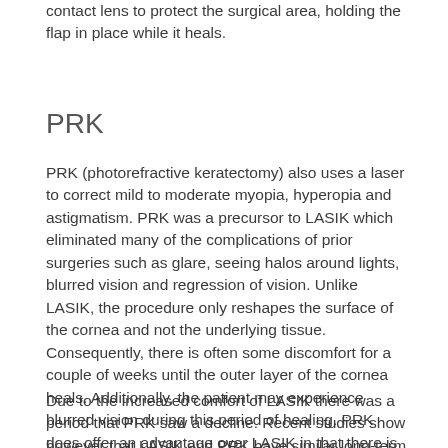contact lens to protect the surgical area, holding the flap in place while it heals.
PRK
PRK (photorefractive keratectomy) also uses a laser to correct mild to moderate myopia, hyperopia and astigmatism. PRK was a precursor to LASIK which eliminated many of the complications of prior surgeries such as glare, seeing halos around lights, blurred vision and regression of vision. Unlike LASIK, the procedure only reshapes the surface of the cornea and not the underlying tissue. Consequently, there is often some discomfort for a couple of weeks until the outer layer of the cornea heals. Additionally, the patient may experience blurred vision during this period of healing. PRK does offer an advantage over LASIK in that there is less risk of certain complications. Wavefront technology is also available for PRK surgeries.
Due to the increased comfort of LASIK there was a period that PRK saw a decline. Recent studies show however that LASIK and PRK have similar long-term success for improved visual